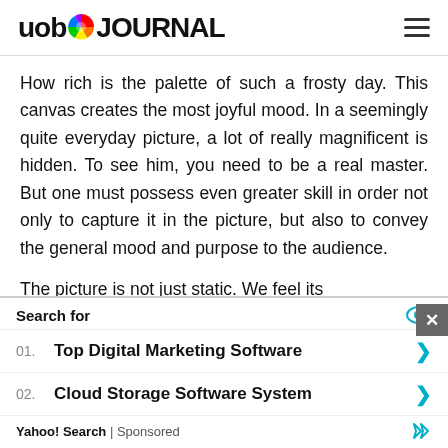uob JOURNAL
How rich is the palette of such a frosty day. This canvas creates the most joyful mood. In a seemingly quite everyday picture, a lot of really magnificent is hidden. To see him, you need to be a real master. But one must possess even greater skill in order not only to capture it in the picture, but also to convey the general mood and purpose to the audience.

The picture is not just static. We feel its
Search for
01. Top Digital Marketing Software
02. Cloud Storage Software System
Yahoo! Search | Sponsored